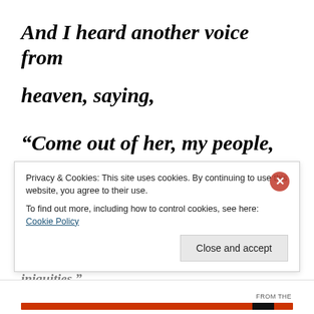And I heard another voice from heaven, saying,
“Come out of her, my people,
that you may not participate in her sins and that you may not receive of her plagues; for her sins have piled up as high as heaven and God has remembered her iniquities.”
Privacy & Cookies: This site uses cookies. By continuing to use this website, you agree to their use. To find out more, including how to control cookies, see here: Cookie Policy
Close and accept